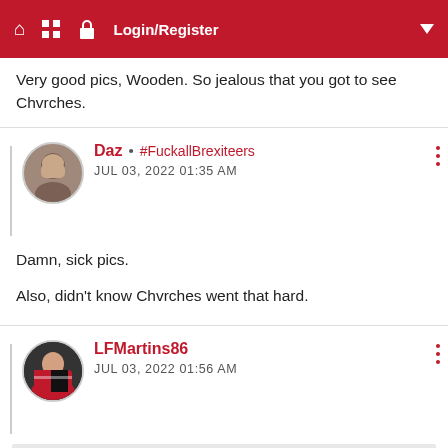Login/Register
Very good pics, Wooden. So jealous that you got to see Chvrches.
Daz • #FuckallBrexiteers
JUL 03, 2022 01:35 AM

Damn, sick pics.

Also, didn't know Chvrches went that hard.
LFMartins86
JUL 03, 2022 01:56 AM

By Daz
Damn, sick pics.